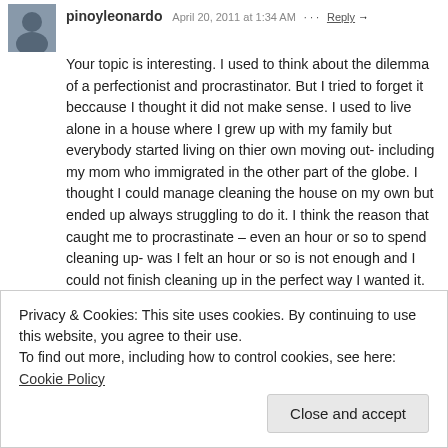pinoyleonardo · April 20, 2011 at 1:34 AM · Reply →
Your topic is interesting. I used to think about the dilemma of a perfectionist and procrastinator. But I tried to forget it beccause I thought it did not make sense. I used to live alone in a house where I grew up with my family but everybody started living on thier own moving out- including my mom who immigrated in the other part of the globe. I thought I could manage cleaning the house on my own but ended up always struggling to do it. I think the reason that caught me to procrastinate – even an hour or so to spend cleaning up- was I felt an hour or so is not enough and I could not finish cleaning up in the perfect way I wanted it. So there, I ended up not doing anything at all- when I could have spent 15 minutes a day doing something. Eventually I learned my lesson. I cannot do everything perfectly.
Privacy & Cookies: This site uses cookies. By continuing to use this website, you agree to their use.
To find out more, including how to control cookies, see here: Cookie Policy
Close and accept